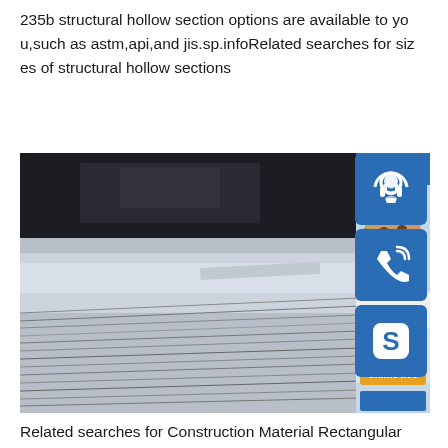235b structural hollow section options are available to you,such as astm,api,and jis.sp.infoRelated searches for sizes of structural hollow sections
[Figure (photo): Close-up photo of metallic steel sheets stacked, showing reflective surface with horizontal striped texture, dark industrial background. Overlaid with a customer service widget showing a woman with headset, '24/7' blue bar, 'PROVIDE Empowering Cus...' text, orange 'online live' button, and three blue icon buttons (headset, phone, Skype) on the right side.]
Related searches for Construction Material Rectangular